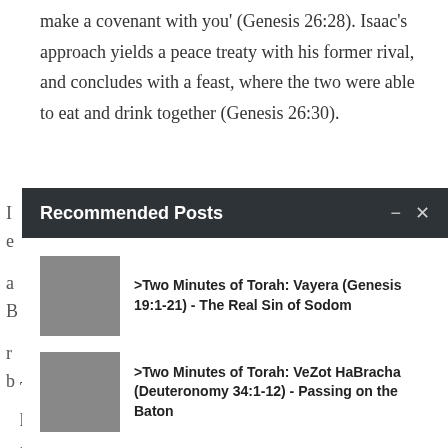make a covenant with you' (Genesis 26:28). Isaac's approach yields a peace treaty with his former rival, and concludes with a feast, where the two were able to eat and drink together (Genesis 26:30).
Recommended Posts
>Two Minutes of Torah: Vayera (Genesis 19:1-21) - The Real Sin of Sodom
>Two Minutes of Torah: VeZot HaBracha (Deuteronomy 34:1-12) - Passing on the Baton
Throughout his life Isaac faced challenges from within his family and from outside. But throughout his life he found ways to build